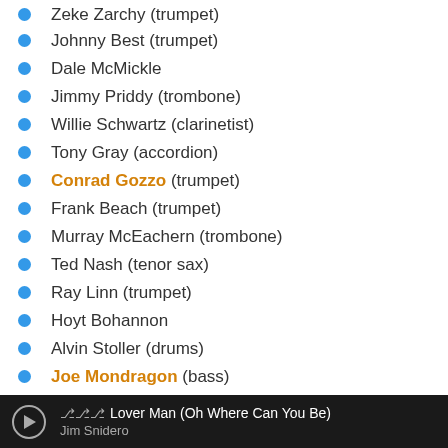Zeke Zarchy (trumpet)
Johnny Best (trumpet)
Dale McMickle
Jimmy Priddy (trombone)
Willie Schwartz (clarinetist)
Tony Gray (accordion)
Conrad Gozzo (trumpet)
Frank Beach (trumpet)
Murray McEachern (trombone)
Ted Nash (tenor sax)
Ray Linn (trumpet)
Hoyt Bohannon
Alvin Stoller (drums)
Joe Mondragon (bass)
Jimmy Rowles (piano)
Pete Candoli (trumpet)
Jim Aton (bass)
Lover Man (Oh Where Can You Be) — Jim Snidero